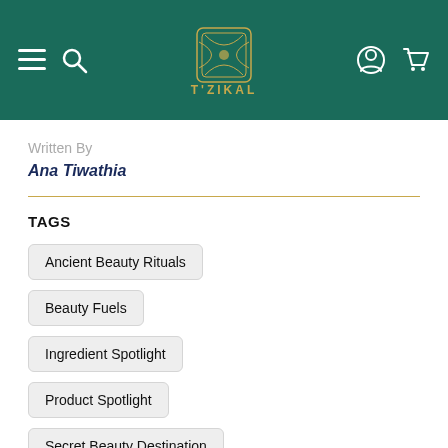T'ZIKAL NEW YORK — navigation header with hamburger, search, logo, account, and cart icons
Written By
Ana Tiwathia
TAGS
Ancient Beauty Rituals
Beauty Fuels
Ingredient Spotlight
Product Spotlight
Secret Beauty Destination